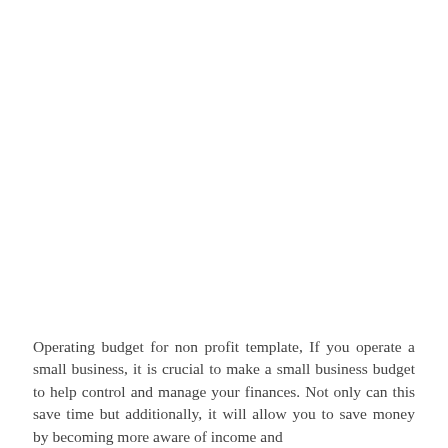Operating budget for non profit template, If you operate a small business, it is crucial to make a small business budget to help control and manage your finances. Not only can this save time but additionally, it will allow you to save money by becoming more aware of income and